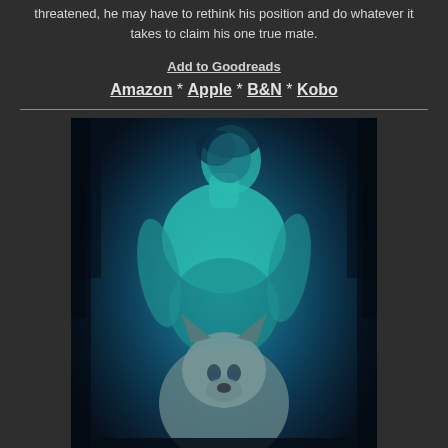threatened, he may have to rethink his position and do whatever it takes to claim his one true mate.
Add to Goodreads
Amazon * Apple * B&N * Kobo
[Figure (illustration): Book cover for 'Celia Breslin - Black Hills Wolves' showing a shirtless man with a wolf in a dark teal/blue fantasy setting]